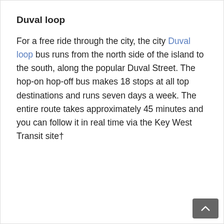Duval loop
For a free ride through the city, the city Duval loop bus runs from the north side of the island to the south, along the popular Duval Street. The hop-on hop-off bus makes 18 stops at all top destinations and runs seven days a week. The entire route takes approximately 45 minutes and you can follow it in real time via the Key West Transit site†